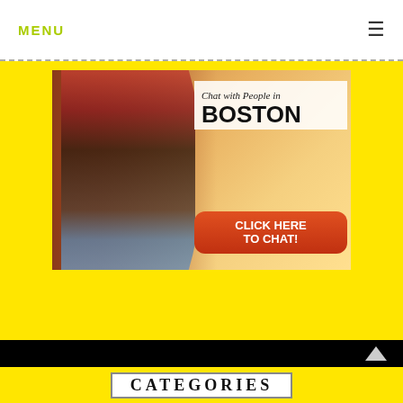MENU
[Figure (photo): Advertisement banner: 'Chat with People in BOSTON - CLICK HERE TO CHAT!' with a photo of a couple holding hands outdoors in warm sunlight, with an orange/red call-to-action button.]
CATEGORIES